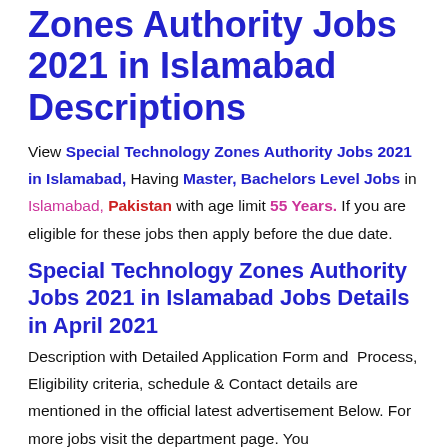Zones Authority Jobs 2021 in Islamabad Descriptions
View Special Technology Zones Authority Jobs 2021 in Islamabad, Having Master, Bachelors Level Jobs in Islamabad, Pakistan with age limit 55 Years. If you are eligible for these jobs then apply before the due date.
Special Technology Zones Authority Jobs 2021 in Islamabad Jobs Details in April 2021
Description with Detailed Application Form and Process, Eligibility criteria, schedule & Contact details are mentioned in the official latest advertisement Below. For more jobs visit the department page. You